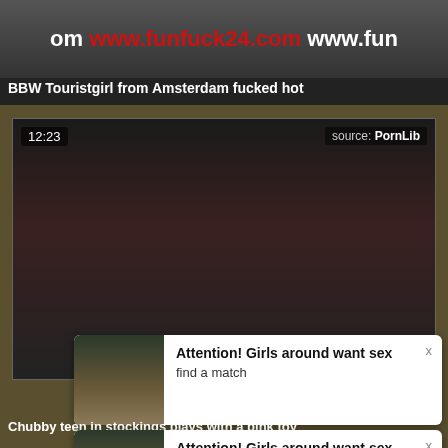[Figure (screenshot): Top portion of adult video website showing a banner with URL www.funfuck24.com]
BBW Touristgirl from Amsterdam fucked hot
[Figure (screenshot): Video thumbnail showing a person with two-tone hair (black and orange), duration 12:23, source: PornLib]
[Figure (screenshot): Popup notification: Attention! Girls around want sex - find a match]
Chubby teen in stockings plays with a pink toy
[Figure (screenshot): Second popup notification: Attention! Girls around want sex - find a match]